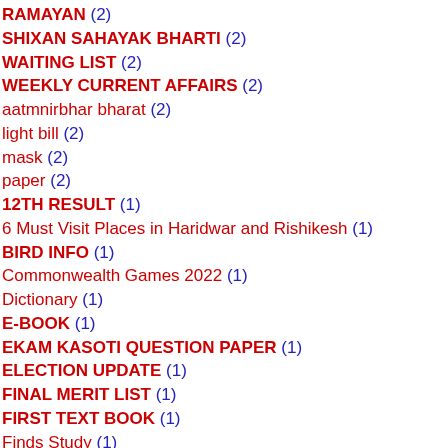RAMAYAN (2)
SHIXAN SAHAYAK BHARTI (2)
WAITING LIST (2)
WEEKLY CURRENT AFFAIRS (2)
aatmnirbhar bharat (2)
light bill (2)
mask (2)
paper (2)
12TH RESULT (1)
6 Must Visit Places in Haridwar and Rishikesh (1)
BIRD INFO (1)
Commonwealth Games 2022 (1)
Dictionary (1)
E-BOOK (1)
EKAM KASOTI QUESTION PAPER (1)
ELECTION UPDATE (1)
FINAL MERIT LIST (1)
FIRST TEXT BOOK (1)
Finds Study (1)